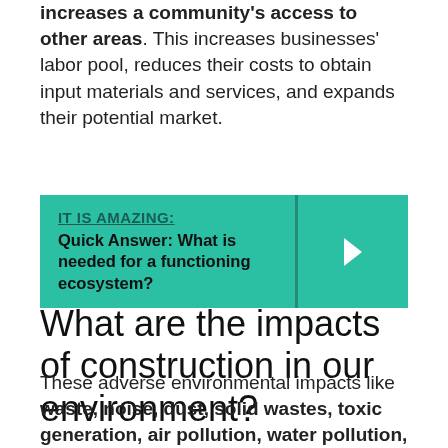increases a community's access to other areas. This increases businesses' labor pool, reduces their costs to obtain input materials and services, and expands their potential market.
[Figure (infographic): Teal callout box with label 'IT IS AMAZING:' and text 'Quick Answer: What is needed for a functioning ecosystem?' with a right-arrow chevron on the right side.]
What are the impacts of construction in our environment?
These adverse environmental impacts like waste, noise, dust, solid wastes, toxic generation, air pollution, water pollution, bad odour, climate change,